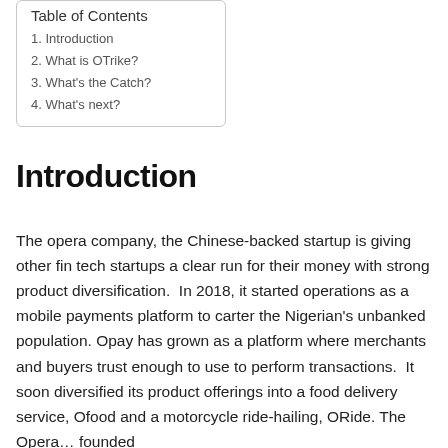Table of Contents
1. Introduction
2. What is OTrike?
3. What's the Catch?
4. What's next?
Introduction
The opera company, the Chinese-backed startup is giving other fin tech startups a clear run for their money with strong product diversification.  In 2018, it started operations as a mobile payments platform to carter the Nigerian's unbanked population. Opay has grown as a platform where merchants and buyers trust enough to use to perform transactions.  It soon diversified its product offerings into a food delivery service, Ofood and a motorcycle ride-hailing, ORide. The Opera… founded